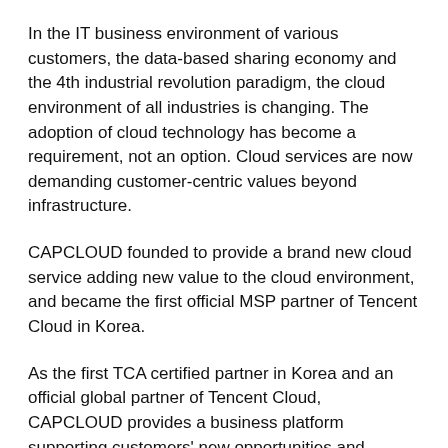In the IT business environment of various customers, the data-based sharing economy and the 4th industrial revolution paradigm, the cloud environment of all industries is changing. The adoption of cloud technology has become a requirement, not an option. Cloud services are now demanding customer-centric values beyond infrastructure.
CAPCLOUD founded to provide a brand new cloud service adding new value to the cloud environment, and became the first official MSP partner of Tencent Cloud in Korea.
As the first TCA certified partner in Korea and an official global partner of Tencent Cloud, CAPCLOUD provides a business platform supporting customers' new opportunities and innovations at the peak of the cloud environment.
Partner Solutions